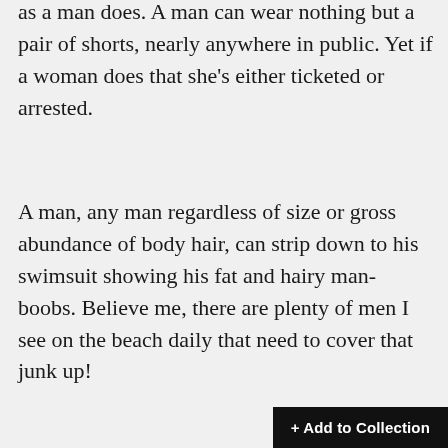as a man does. A man can wear nothing but a pair of shorts, nearly anywhere in public. Yet if a woman does that she's either ticketed or arrested.
A man, any man regardless of size or gross abundance of body hair, can strip down to his swimsuit showing his fat and hairy man-boobs. Believe me, there are plenty of men I see on the beach daily that need to cover that junk up!